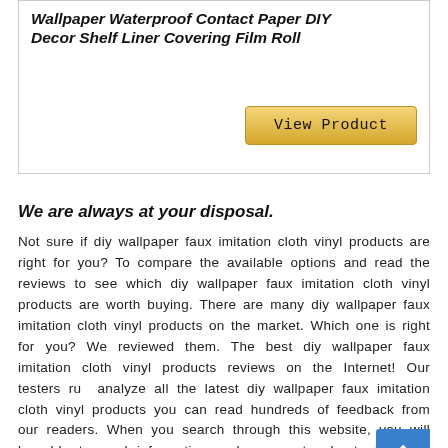Wallpaper Waterproof Contact Paper DIY Decor Shelf Liner Covering Film Roll
View Product
We are always at your disposal.
Not sure if diy wallpaper faux imitation cloth vinyl products are right for you? To compare the available options and read the reviews to see which diy wallpaper faux imitation cloth vinyl products are worth buying. There are many diy wallpaper faux imitation cloth vinyl products on the market. Which one is right for you? We reviewed them. The best diy wallpaper faux imitation cloth vinyl products reviews on the Internet! Our testers run analyze all the latest diy wallpaper faux imitation cloth vinyl products you can read hundreds of feedback from our readers. When you search through this website, you will be able to read information and comments about all of diy wallpaper faux